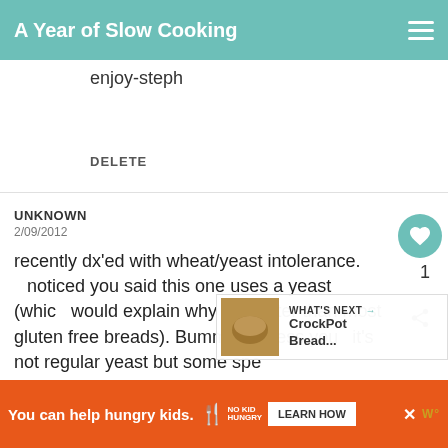A Year of Slow Cooking
enjoy-steph
DELETE
UNKNOWN
2/09/2012
recently dx'ed with wheat/yeast intolerance. noticed you said this one uses a yeast (which would explain why it's lighter than most gluten free breads). Bummer, unless you it's not regular yeast but some spe
WHAT'S NEXT → CrockPot Bread...
[Figure (infographic): Orange advertisement bar: 'You can help hungry kids.' No Kid Hungry logo and LEARN HOW button]